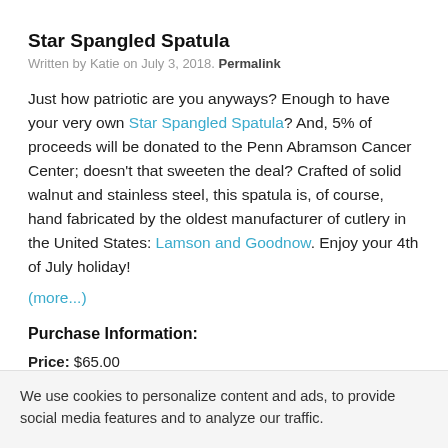Star Spangled Spatula
Written by Katie on July 3, 2018. Permalink
Just how patriotic are you anyways? Enough to have your very own Star Spangled Spatula? And, 5% of proceeds will be donated to the Penn Abramson Cancer Center; doesn't that sweeten the deal? Crafted of solid walnut and stainless steel, this spatula is, of course, hand fabricated by the oldest manufacturer of cutlery in the United States: Lamson and Goodnow. Enjoy your 4th of July holiday!
(more...)
Purchase Information:
Price: $65.00
Available from: Areaware
We use cookies to personalize content and ads, to provide social media features and to analyze our traffic.